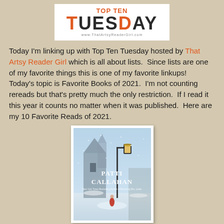[Figure (logo): Top Ten Tuesday logo with orange TOP TEN text, dark TUESDAY text, and www.ThatArtsyReaderGirl.com URL]
Today I'm linking up with Top Ten Tuesday hosted by That Artsy Reader Girl which is all about lists.  Since lists are one of my favorite things this is one of my favorite linkups!  Today's topic is Favorite Books of 2021.  I'm not counting rereads but that's pretty much the only restriction.  If I read it this year it counts no matter when it was published.  Here are my 10 Favorite Reads of 2021.
[Figure (photo): Book cover of a Patti Callahan novel showing a snowy winter scene with a lamppost, a church, and a figure in a red coat, with text 'PATTI CALLAHAN' and 'New York Times Bestselling Author of Becoming Mrs. Lewis']